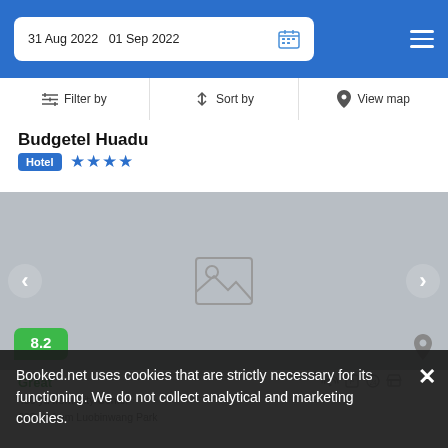31 Aug 2022  01 Sep 2022
Filter by  Sort by  View map
Budgetel Huadu
Hotel  ★★★★
[Figure (photo): Hotel photo placeholder image (grey background with image icon)]
8.2
Great
400 yd from City Center
600 yd from Luobinwang Park
Booked.net uses cookies that are strictly necessary for its functioning. We do not collect analytical and marketing cookies.